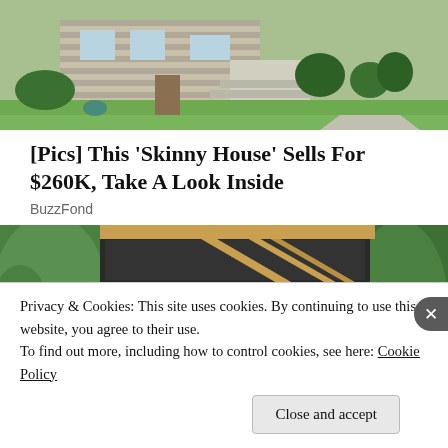[Figure (photo): Aerial/street view of a suburban house with green lawn, walkway, and shrubs]
[Pics] This 'Skinny House' Sells For $260K, Take A Look Inside
BuzzFond
[Figure (photo): A narrow dark-clad building under construction with wooden framing, surrounded by trees, with a child standing in the doorway]
Privacy & Cookies: This site uses cookies. By continuing to use this website, you agree to their use.
To find out more, including how to control cookies, see here: Cookie Policy
Close and accept